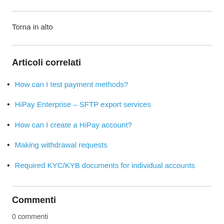Torna in alto
Articoli correlati
How can I test payment methods?
HiPay Enterprise – SFTP export services
How can I create a HiPay account?
Making withdrawal requests
Required KYC/KYB documents for individual accounts
Commenti
0 commenti